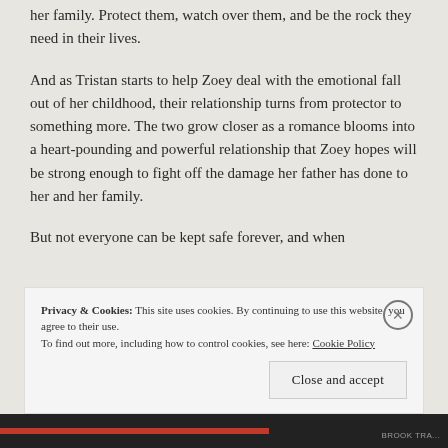her family. Protect them, watch over them, and be the rock they need in their lives.
And as Tristan starts to help Zoey deal with the emotional fall out of her childhood, their relationship turns from protector to something more. The two grow closer as a romance blooms into a heart-pounding and powerful relationship that Zoey hopes will be strong enough to fight off the damage her father has done to her and her family.
But not everyone can be kept safe forever, and when
Privacy & Cookies: This site uses cookies. By continuing to use this website, you agree to their use.
To find out more, including how to control cookies, see here: Cookie Policy
Close and accept